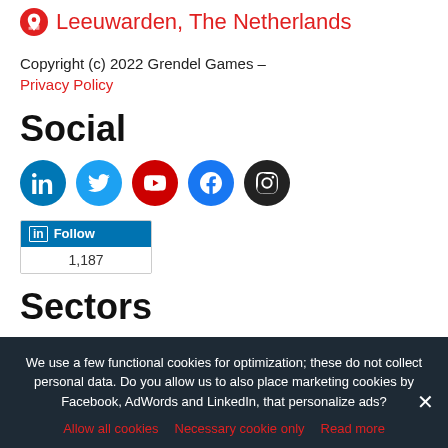Leeuwarden, The Netherlands
Copyright (c) 2022 Grendel Games –
Privacy Policy
Social
[Figure (infographic): Row of five social media icon circles: LinkedIn (blue), Twitter (light blue), YouTube (red), Facebook (blue), Instagram (black)]
[Figure (infographic): LinkedIn Follow widget showing 1,187 followers]
Sectors
We use a few functional cookies for optimization; these do not collect personal data. Do you allow us to also place marketing cookies by Facebook, AdWords and LinkedIn, that personalize ads?
Allow all cookies   Necessary cookie only   Read more